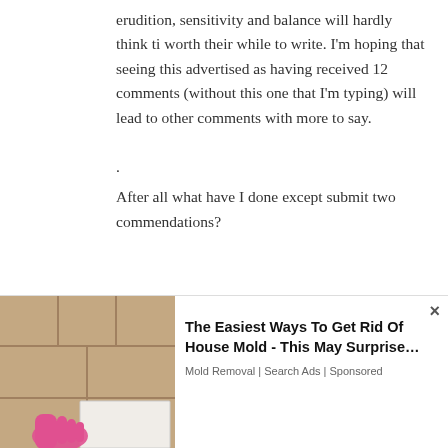erudition, sensitivity and balance will hardly think ti worth their while to write. I'm hoping that seeing this advertised as having received 12 comments (without this one that I'm typing) will lead to other comments with more to say.
.
After all what have I done except submit two commendations?
[Figure (other): Advertisement banner: logo with geometric diamond/arrow pattern in red/pink, close button (X), AdChoices badge, and partial text 'Trendy Tops For Women | Rotita']
[Figure (other): Advertisement overlay showing bathroom tile cleaning image with pink glove and white tile corner, with ad text: 'The Easiest Ways To Get Rid Of House Mold - This May Surprise...' from 'Mold Removal | Search Ads | Sponsored']